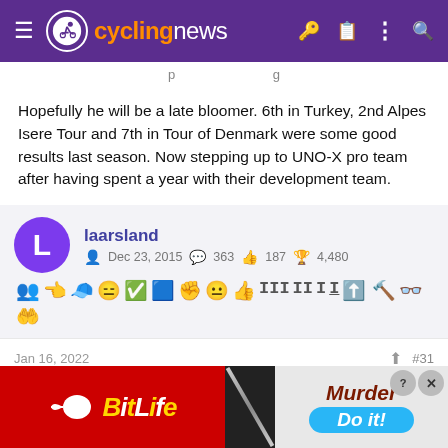cyclingnews
Hopefully he will be a late bloomer. 6th in Turkey, 2nd Alpes Isere Tour and 7th in Tour of Denmark were some good results last season. Now stepping up to UNO-X pro team after having spent a year with their development team.
laarsland
Dec 23, 2015  363  187  4,480
Jan 16, 2022  #31
[Figure (screenshot): BitLife advertisement banner with murder-themed game ad]